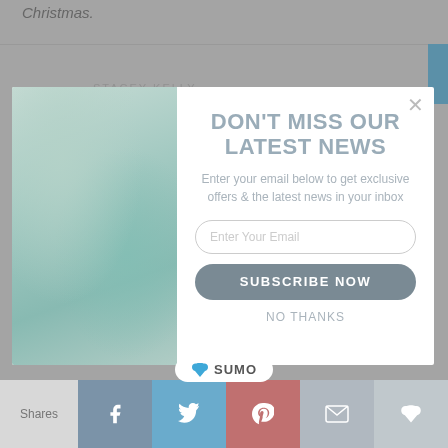Christmas.
STACEY KELLY
[Figure (screenshot): Email newsletter subscription modal popup overlaying a blog page. Left side shows a photo of decorative glass bottles and vases in teal/aqua colors. Right side has headline 'DON'T MISS OUR LATEST NEWS', subtext 'Enter your email below to get exclusive offers & the latest news in your inbox', an email input field, a 'SUBSCRIBE NOW' button, and 'NO THANKS' link. A close X button is in the top right. A SUMO badge appears at the bottom of the modal.]
DON'T MISS OUR LATEST NEWS
Enter your email below to get exclusive offers & the latest news in your inbox
Enter Your Email
SUBSCRIBE NOW
NO THANKS
SUMO
Shares